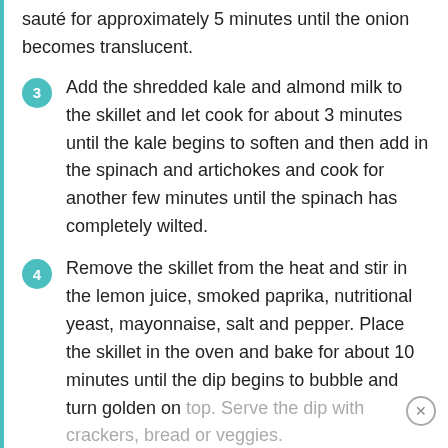sauté for approximately 5 minutes until the onion becomes translucent.
3 Add the shredded kale and almond milk to the skillet and let cook for about 3 minutes until the kale begins to soften and then add in the spinach and artichokes and cook for another few minutes until the spinach has completely wilted.
4 Remove the skillet from the heat and stir in the lemon juice, smoked paprika, nutritional yeast, mayonnaise, salt and pepper. Place the skillet in the oven and bake for about 10 minutes until the dip begins to bubble and turn golden on top. Serve the dip with crackers, bread or veggies.